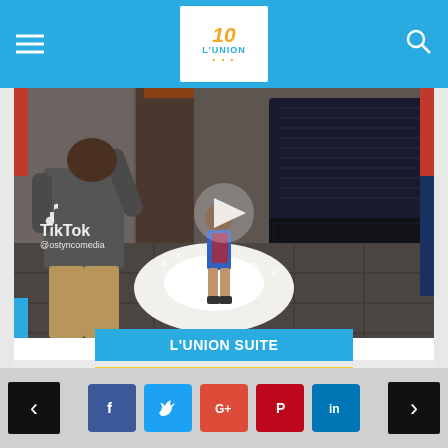L'UNION — navigation header with hamburger menu and search icon
[Figure (photo): TikTok video screenshot showing an adult spraying a powder/substance at a child in a bedroom, with a dark bed visible on the right and a bright white glow on the tiled floor. TikTok watermark with @ostyncomedia handle visible.]
L'UNION SUITE
UPCOMING FILMS
Social share buttons: Facebook, Twitter, Google+, Pinterest, LinkedIn. Navigation arrows left and right.